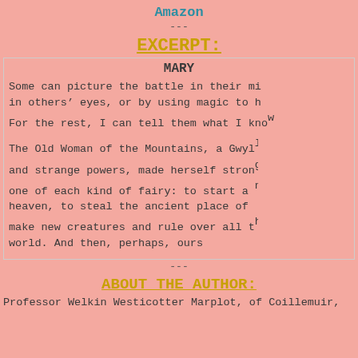Amazon
---
EXCERPT:
MARY
Some can picture the battle in their mi
in others' eyes, or by using magic to h
For the rest, I can tell them what I know
The Old Woman of the Mountains, a Gwyll
and strange powers, made herself strong
one of each kind of fairy: to start a n
heaven, to steal the ancient place of
make new creatures and rule over all th
world. And then, perhaps, ours
---
ABOUT THE AUTHOR:
Professor Welkin Westicotter Marplot, of Coillemuir,